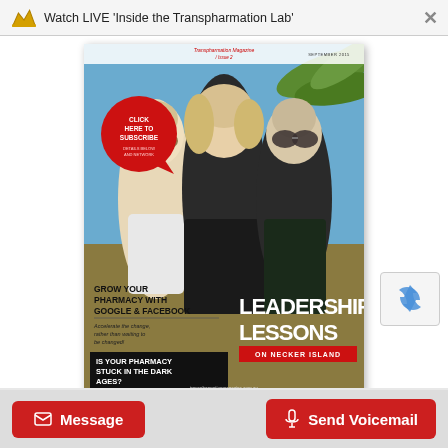Watch LIVE 'Inside the Transpharmation Lab'
[Figure (photo): Screenshot of a webpage showing a Transpharmation Magazine cover (Issue 2, September 2015). The cover features three people smiling outdoors, with text reading 'LEADERSHIP LESSONS ON NECKER ISLAND', 'GROW YOUR PHARMACY WITH GOOGLE & FACEBOOK', 'Accelerate the change, rather than waiting to be changed!', 'IS YOUR PHARMACY STUCK IN THE DARK AGES?', and a red circle badge saying 'CLICK HERE TO SUBSCRIBE'. Bottom of page shows Message and Send Voicemail buttons in red, and a reCAPTCHA badge.]
Message | Send Voicemail